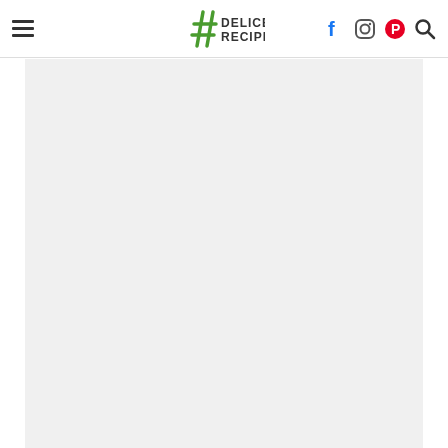Delice Recipes navigation header with logo, social icons, and search
[Figure (other): Large light gray content area below the navigation header, mostly blank/empty]